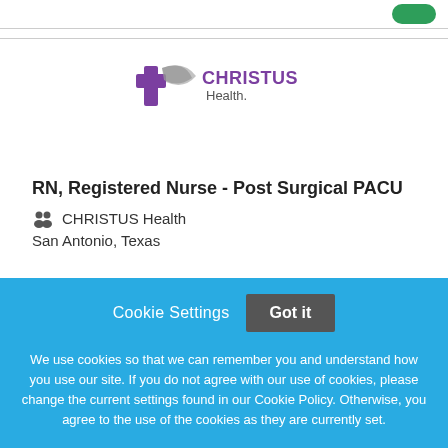[Figure (logo): CHRISTUS Health logo with purple cross and swoosh symbol]
RN, Registered Nurse - Post Surgical PACU
CHRISTUS Health
San Antonio, Texas
Cookie Settings
Got it
We use cookies so that we can remember you and understand how you use our site. If you do not agree with our use of cookies, please change the current settings found in our Cookie Policy. Otherwise, you agree to the use of the cookies as they are currently set.